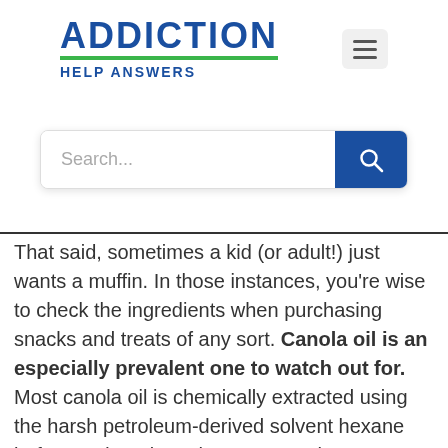[Figure (logo): Addiction Help Answers logo with blue text and green underline]
[Figure (screenshot): Hamburger menu button (three horizontal lines) in a light grey rounded rectangle]
[Figure (screenshot): Search bar with placeholder text 'Search...' and a blue search button with magnifying glass icon]
That said, sometimes a kid (or adult!) just wants a muffin. In those instances, you're wise to check the ingredients when purchasing snacks and treats of any sort. Canola oil is an especially prevalent one to watch out for. Most canola oil is chemically extracted using the harsh petroleum-derived solvent hexane before undergoing other steps such as bleaching and deodorizing—all of which require heat and heat-generated degeneration. No need to remember these details! Just know that canola oil is neither a whole nor healthy food.